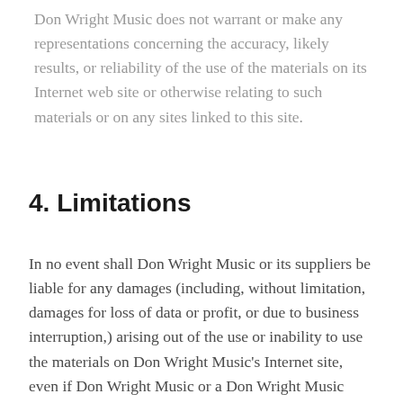Don Wright Music does not warrant or make any representations concerning the accuracy, likely results, or reliability of the use of the materials on its Internet web site or otherwise relating to such materials or on any sites linked to this site.
4. Limitations
In no event shall Don Wright Music or its suppliers be liable for any damages (including, without limitation, damages for loss of data or profit, or due to business interruption,) arising out of the use or inability to use the materials on Don Wright Music's Internet site, even if Don Wright Music or a Don Wright Music authorized representative has been notified orally or